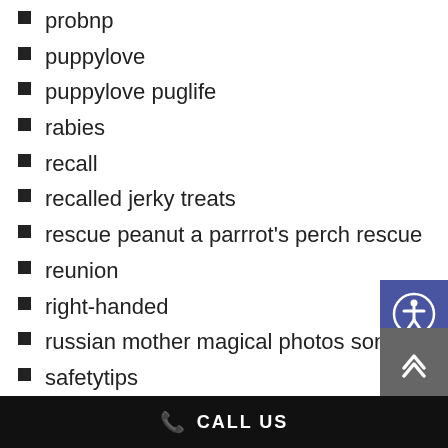probnp
puppylove
puppylove puglife
rabies
recall
recalled jerky treats
rescue peanut a parrrot's perch rescue
reunion
right-handed
russian mother magical photos sons
safetytips
santa pet photos
santa pet photos tri-lakes humane society
sb 865
CALL US